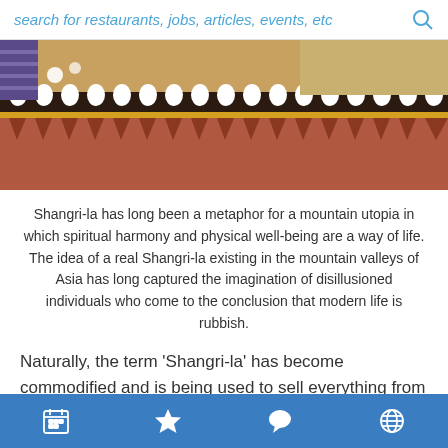search for restaurants, jobs, articles, events, etc
[Figure (photo): Ornate Bhutanese or Tibetan style building facade with decorative cornice featuring alternating black and white oval shapes and terracotta triangular brackets, photographed from below against a bright sky]
Shangri-la has long been a metaphor for a mountain utopia in which spiritual harmony and physical well-being are a way of life. The idea of a real Shangri-la existing in the mountain valleys of Asia has long captured the imagination of disillusioned individuals who come to the conclusion that modern life is rubbish.
Naturally, the term ‘Shangri-la’ has become commodified and is being used to sell everything from hotel rooms to coffees and soaps – even a small city
Navigation bar with calendar, star, chat, and globe icons